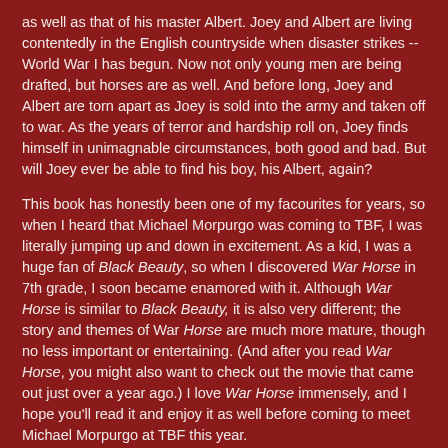as well as that of his master Albert. Joey and Albert are living contentedly in the English countryside when disaster strikes -- World War I has begun. Now not only young men are being drafted, but horses are as well. And before long, Joey and Albert are torn apart as Joey is sold into the army and taken off to war. As the years of terror and hardship roll on, Joey finds himself in unimagnable circumstances, both good and bad. But will Joey ever be able to find his boy, his Albert, again?
This book has honestly been one of my facourites for years, so when I heard that Michael Morpurgo was coming to TBF, I was literally jumping up and down in excitement. As a kid, I was a huge fan of Black Beauty, so when I discovered War Horse in 7th grade, I soon became enamored with it. Although War Horse is similar to Black Beauty, it is also very different; the story and themes of War Horse are much more mature, though no less important or entertaining. (And after you read War Horse, you might also want to check out the movie that came out just over a year ago.) I love War Horse immensely, and I hope you'll read it and enjoy it as well before coming to meet Michael Morpurgo at TBF this year.